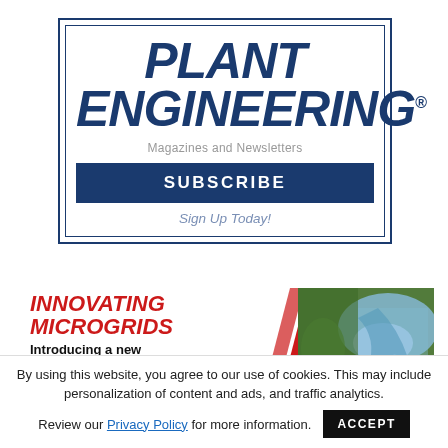[Figure (logo): Plant Engineering magazine logo with italic bold blue text]
Magazines and Newsletters
SUBSCRIBE
Sign Up Today!
[Figure (infographic): Innovating Microgrids promotional banner with red italic text, diagonal red slash, and aerial photo of water/greenery]
INNOVATING MICROGRIDS
Introducing a new microgrid lab by
By using this website, you agree to our use of cookies. This may include personalization of content and ads, and traffic analytics.
Review our Privacy Policy for more information.  ACCEPT